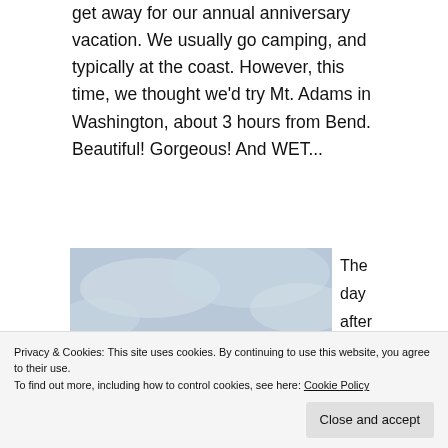get away for our annual anniversary vacation. We usually go camping, and typically at the coast. However, this time, we thought we'd try Mt. Adams in Washington, about 3 hours from Bend. Beautiful! Gorgeous! And WET...
[Figure (photo): Two people sitting on rocks on a mountain ridge with a sweeping view of forested valleys and cloudy skies in the background, likely Mt. Adams area in Washington.]
The day after we arrived at our
Privacy & Cookies: This site uses cookies. By continuing to use this website, you agree to their use. To find out more, including how to control cookies, see here: Cookie Policy
Close and accept
Adams, near Adams Glacier. Though it was the middle of